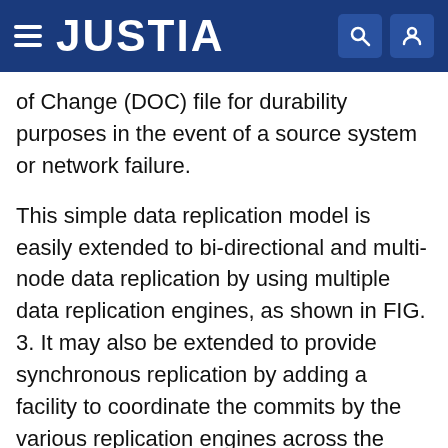JUSTIA
of Change (DOC) file for durability purposes in the event of a source system or network failure.
This simple data replication model is easily extended to bi-directional and multi-node data replication by using multiple data replication engines, as shown in FIG. 3. It may also be extended to provide synchronous replication by adding a facility to coordinate the commits by the various replication engines across the network, for example using the well-known two-phase commit (2PC) protocol. Note that in a multi-node network, there need not be a connection between every node so long as each node has a path to all others. Also, there need not be a database resident at every node. Some nodes may have a partial database or no database at all; instead, they access data from other nodes. Data replication engines may only be needed at